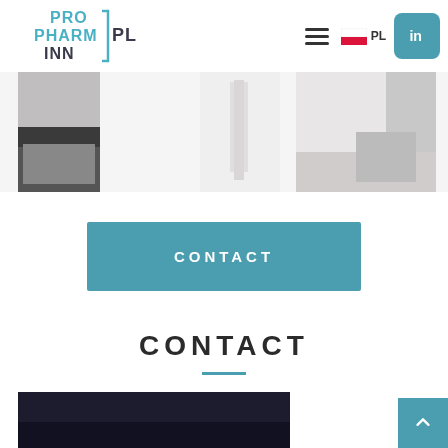[Figure (logo): ProPharmInn PL logo with teal bracket design]
[Figure (photo): Navigation bar with hamburger menu, PL flag, and LinkedIn button]
[Figure (photo): Three cropped office/interior photos in a horizontal strip]
CONTACT
CONTACT
[Figure (photo): Dark contact section image at the bottom]